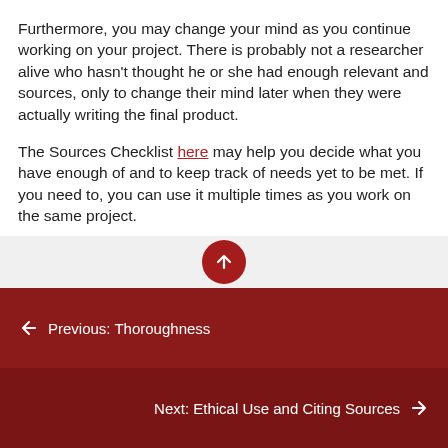Furthermore, you may change your mind as you continue working on your project. There is probably not a researcher alive who hasn't thought he or she had enough relevant and sources, only to change their mind later when they were actually writing the final product.
The Sources Checklist here may help you decide what you have enough of and to keep track of needs yet to be met. If you need to, you can use it multiple times as you work on the same project.
← Previous: Thoroughness
Next: Ethical Use and Citing Sources →